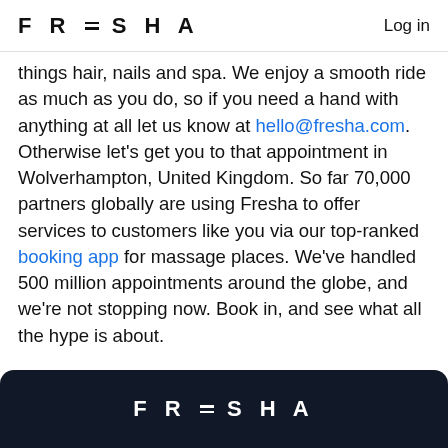FRESHA  Log in
things hair, nails and spa. We enjoy a smooth ride as much as you do, so if you need a hand with anything at all let us know at hello@fresha.com. Otherwise let's get you to that appointment in Wolverhampton, United Kingdom. So far 70,000 partners globally are using Fresha to offer services to customers like you via our top-ranked booking app for massage places. We've handled 500 million appointments around the globe, and we're not stopping now. Book in, and see what all the hype is about.
[Figure (logo): Fresha logo in white on dark navy background footer]